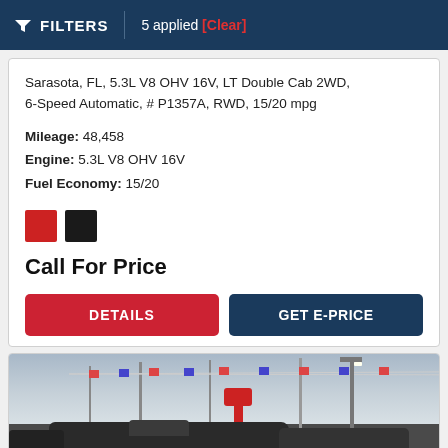FILTERS | 5 applied [Clear]
Sarasota, FL, 5.3L V8 OHV 16V, LT Double Cab 2WD, 6-Speed Automatic, # P1357A, RWD, 15/20 mpg
Mileage: 48,458
Engine: 5.3L V8 OHV 16V
Fuel Economy: 15/20
Call For Price
[Figure (photo): Dealership lot exterior showing cars, flags/bunting strung between poles, a red sign, and street light against an overcast sky]